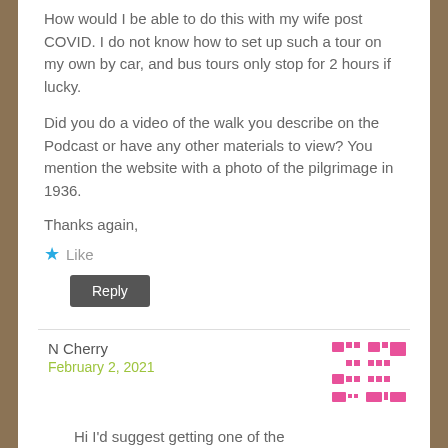How would I be able to do this with my wife post COVID. I do not know how to set up such a tour on my own by car, and bus tours only stop for 2 hours if lucky.
Did you do a video of the walk you describe on the Podcast or have any other materials to view? You mention the website with a photo of the pilgrimage in 1936.
Thanks again,
★ Like
Reply
N Cherry
February 2, 2021
Hi I'd suggest getting one of the Battleground Europe books on the area as they